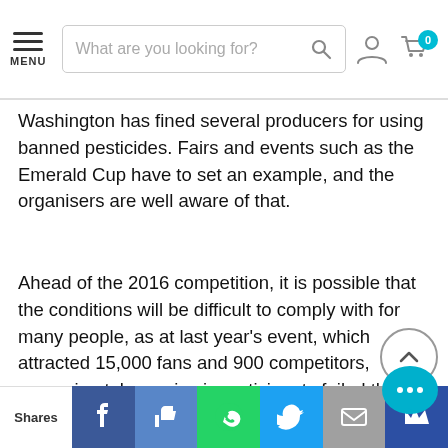MENU | [search bar] | [user icon] | [cart icon] | 0
Washington has fined several producers for using banned pesticides. Fairs and events such as the Emerald Cup have to set an example, and the organisers are well aware of that.
Ahead of the 2016 competition, it is possible that the conditions will be difficult to comply with for many people, as at last year's event, which attracted 15,000 fans and 900 competitors, approximately one in six participants failed the laboratory tests for contaminants and pathogenic agents. At that time, the organisers did not publicly release the names of those that did not make grade, but they will do this year. Those in charge have stated that they will create a list with growers and dispensaries that do not check the residual pollutants in
Shares | [Facebook] | [Like] | [WhatsApp] | [Twitter] | [Mail] | [Crown]